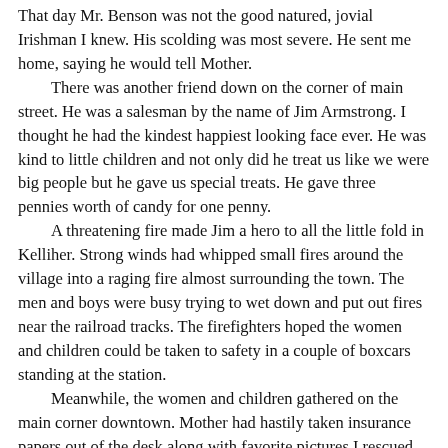That day Mr. Benson was not the good natured, jovial Irishman I knew. His scolding was most severe. He sent me home, saying he would tell Mother.
	There was another friend down on the corner of main street. He was a salesman by the name of Jim Armstrong. I thought he had the kindest happiest looking face ever. He was kind to little children and not only did he treat us like we were big people but he gave us special treats. He gave three pennies worth of candy for one penny.
	A threatening fire made Jim a hero to all the little fold in Kelliher. Strong winds had whipped small fires around the village into a raging fire almost surrounding the town. The men and boys were busy trying to wet down and put out fires near the railroad tracks. The firefighters hoped the women and children could be taken to safety in a couple of boxcars standing at the station.
	Meanwhile, the women and children gathered on the main corner downtown. Mother had hastily taken insurance papers out of the desk along with favorite pictures.I rescued my new red bedroom slippers that had painted animals around the cuff. I knew this was really serious but it was exciting too.
	As everyone huddled together with eyes stinging and coughing from the smoke, Jim appeared, pulling the fire hose wagon. He said, "Don't